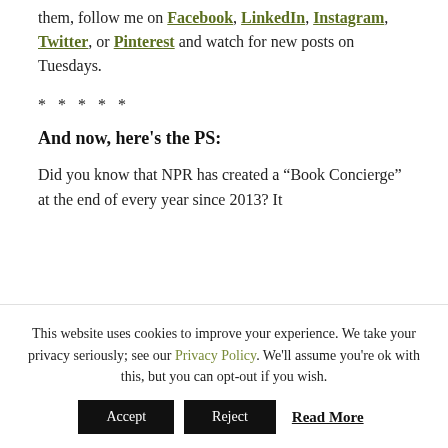them, follow me on Facebook, LinkedIn, Instagram, Twitter, or Pinterest and watch for new posts on Tuesdays.
* * * * *
And now, here's the PS:
Did you know that NPR has created a “Book Concierge” at the end of every year since 2013? It
This website uses cookies to improve your experience. We take your privacy seriously; see our Privacy Policy. We'll assume you're ok with this, but you can opt-out if you wish.
Accept  Reject  Read More